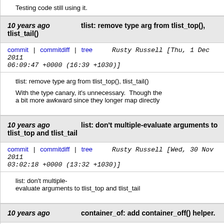Testing code still using it.
10 years ago   tlist: remove type arg from tlist_top(), tlist_tail()
commit | commitdiff | tree   Rusty Russell [Thu, 1 Dec 2011 06:09:47 +0000 (16:39 +1030)]
tlist: remove type arg from tlist_top(), tlist_tail()

With the type canary, it's unnecessary.  Though the a bit more awkward since they longer map directly
10 years ago   list: don't multiple-evaluate arguments to tlist_top and tlist_tail
commit | commitdiff | tree   Rusty Russell [Wed, 30 Nov 2011 03:02:18 +0000 (13:32 +1030)]
list: don't multiple-evaluate arguments to tlist_top and tlist_tail
10 years ago   container_of: add container_off() helper.
commit | commitdiff | tree   Rusty Russell [Wed, 30 Nov 2011 03:02:06 +0000 (13:32 +1030)]
container_of: add container_off() helper.